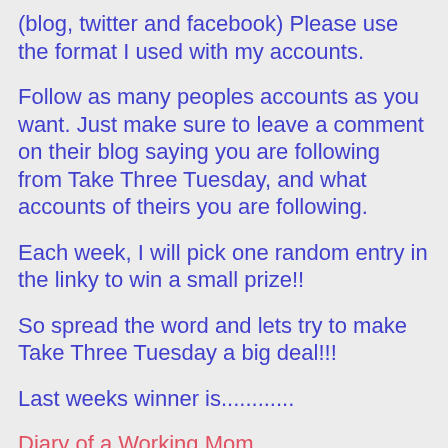(blog, twitter and facebook) Please use the format I used with my accounts.
Follow as many peoples accounts as you want. Just make sure to leave a comment on their blog saying you are following from Take Three Tuesday, and what accounts of theirs you are following.
Each week, I will pick one random entry in the linky to win a small prize!!
So spread the word and lets try to make Take Three Tuesday a big deal!!!
Last weeks winner is............
Diary of a Working Mom